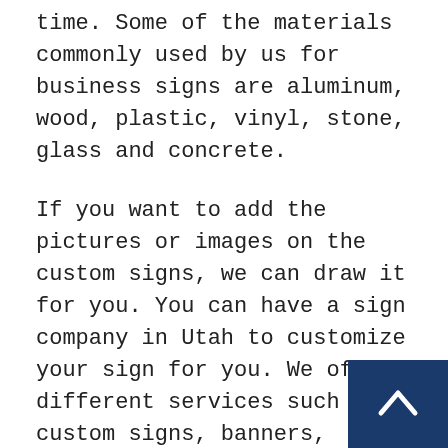time. Some of the materials commonly used by us for business signs are aluminum, wood, plastic, vinyl, stone, glass and concrete.
If you want to add the pictures or images on the custom signs, we can draw it for you. You can have a sign company in Utah to customize your sign for you. We offer different services such as custom signs, banners, decals, yard signs, name plates, and license plates.
In order to print the custom signs, we use the latest printing technology and equipment. In order to produce quality signs, we follow a detailed procedure. Firstly, we start by
[Figure (other): Dark blue back-to-top button with white upward chevron arrow, positioned at bottom right corner]